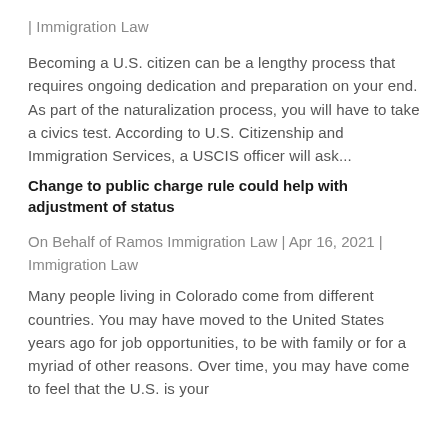| Immigration Law
Becoming a U.S. citizen can be a lengthy process that requires ongoing dedication and preparation on your end. As part of the naturalization process, you will have to take a civics test. According to U.S. Citizenship and Immigration Services, a USCIS officer will ask...
Change to public charge rule could help with adjustment of status
On Behalf of Ramos Immigration Law | Apr 16, 2021 | Immigration Law
Many people living in Colorado come from different countries. You may have moved to the United States years ago for job opportunities, to be with family or for a myriad of other reasons. Over time, you may have come to feel that the U.S. is your